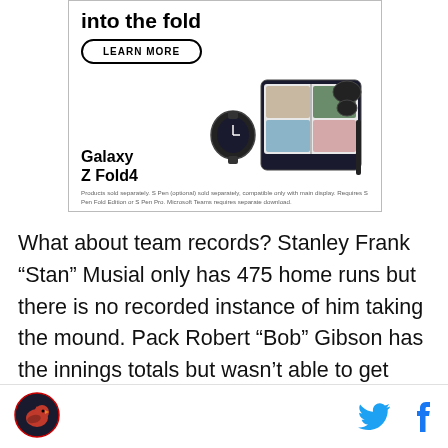[Figure (other): Samsung Galaxy Z Fold4 advertisement banner showing the device with a 'Learn More' button and product image including watch and earbuds]
What about team records? Stanley Frank “Stan” Musial only has 475 home runs but there is no recorded instance of him taking the mound. Pack Robert “Bob” Gibson has the innings totals but wasn’t able to get enough plate appearances to challenge Pujols or Musial in home runs. Since both players are now deceased, neither Mr. Musial nor Mr. Gibson will be
[Figure (logo): Site logo - red bird cardinal sports icon]
[Figure (other): Twitter and Facebook social share icons]